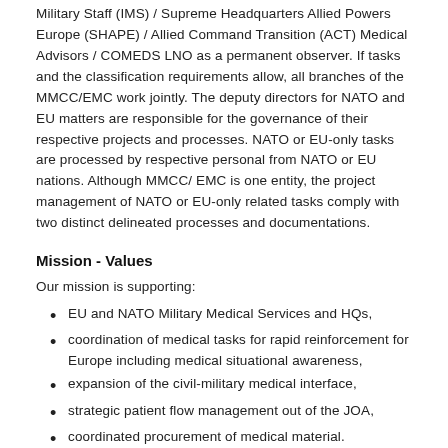Military Staff (IMS) / Supreme Headquarters Allied Powers Europe (SHAPE) / Allied Command Transition (ACT) Medical Advisors / COMEDS LNO as a permanent observer. If tasks and the classification requirements allow, all branches of the MMCC/EMC work jointly. The deputy directors for NATO and EU matters are responsible for the governance of their respective projects and processes. NATO or EU-only tasks are processed by respective personal from NATO or EU nations. Although MMCC/ EMC is one entity, the project management of NATO or EU-only related tasks comply with two distinct delineated processes and documentations.
Mission - Values
Our mission is supporting:
EU and NATO Military Medical Services and HQs,
coordination of medical tasks for rapid reinforcement for Europe including medical situational awareness,
expansion of the civil-military medical interface,
strategic patient flow management out of the JOA,
coordinated procurement of medical material.
We facilitate the provision of military medical operational